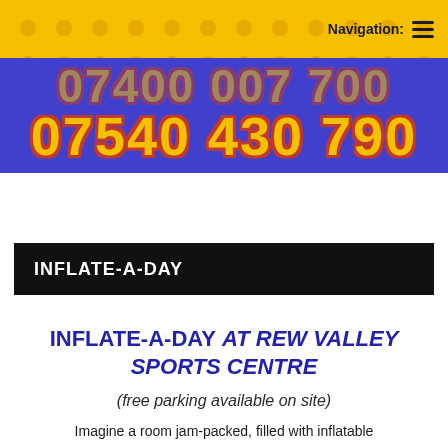Navigation:
[Figure (screenshot): Blue/purple banner with large yellow phone numbers: 07540 430 790]
INFLATE-A-DAY
INFLATE-A-DAY AT REW VALLEY SPORTS CENTRE
(free parking available on site)
Imagine a room jam-packed, filled with inflatable